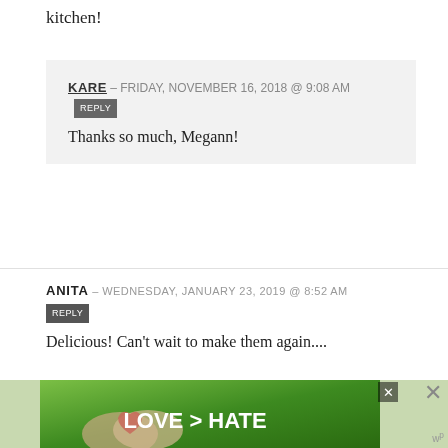kitchen!
KARE – FRIDAY, NOVEMBER 16, 2018 @ 9:08 AM [REPLY]
Thanks so much, Megann!
ANITA – WEDNESDAY, JANUARY 23, 2019 @ 8:52 AM [REPLY]
Delicious!  Can't wait to make them again....
[Figure (photo): Advertisement banner showing hands making a heart shape with text LOVE > HATE on green background]